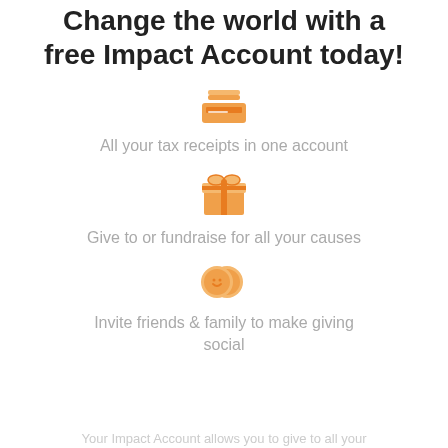Change the world with a free Impact Account today!
[Figure (illustration): Orange filing cabinet / inbox tray icon]
All your tax receipts in one account
[Figure (illustration): Orange gift box icon with ribbon]
Give to or fundraise for all your causes
[Figure (illustration): Orange coins / social giving icon (two overlapping circles with smiley and dollar sign)]
Invite friends & family to make giving social
Your Impact Account allows you to give to all your